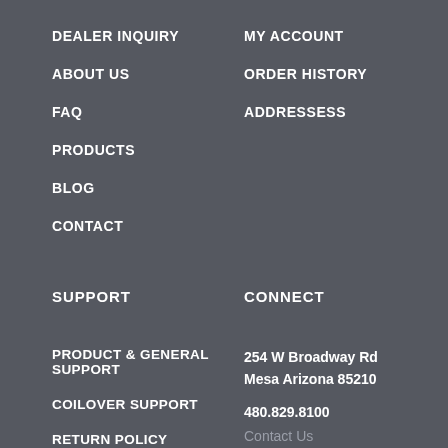DEALER INQUIRY
ABOUT US
FAQ
PRODUCTS
BLOG
CONTACT
MY ACCOUNT
ORDER HISTORY
ADDRESSESS
SUPPORT
CONNECT
PRODUCT & GENERAL SUPPORT
COILOVER SUPPORT
RETURN POLICY
WARRANTY & SERVICE
TERMS AND CONDITIONS
254 W Broadway Rd
Mesa Arizona 85210
480.829.8100
Contact Us
Monday – Friday